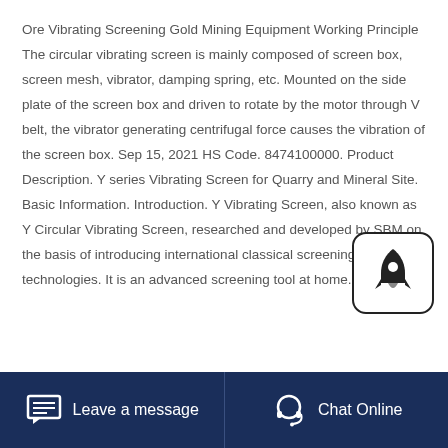Ore Vibrating Screening Gold Mining Equipment Working Principle The circular vibrating screen is mainly composed of screen box, screen mesh, vibrator, damping spring, etc. Mounted on the side plate of the screen box and driven to rotate by the motor through V belt, the vibrator generating centrifugal force causes the vibration of the screen box. Sep 15, 2021 HS Code. 8474100000. Product Description. Y series Vibrating Screen for Quarry and Mineral Site. Basic Information. Introduction. Y Vibrating Screen, also known as Y Circular Vibrating Screen, researched and developed by SBM on the basis of introducing international classical screening technologies. It is an advanced screening tool at home.
[Figure (logo): Rocket icon in a rounded square box]
Leave a message   Chat Online